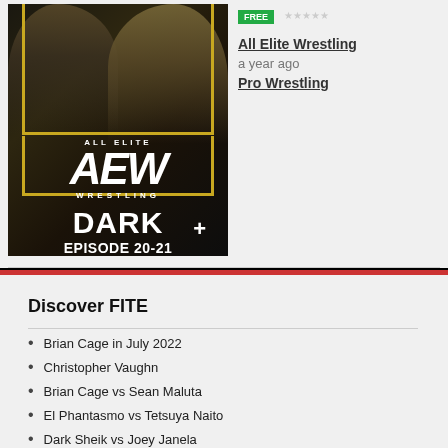[Figure (photo): AEW Dark Episode 20-21 thumbnail showing two wrestlers with AEW All Elite Wrestling Dark logo and Episode 20-21 text, with a + icon]
FREE
All Elite Wrestling
a year ago
Pro Wrestling
Discover FITE
Brian Cage in July 2022
Christopher Vaughn
Brian Cage vs Sean Maluta
El Phantasmo vs Tetsuya Naito
Dark Sheik vs Joey Janela